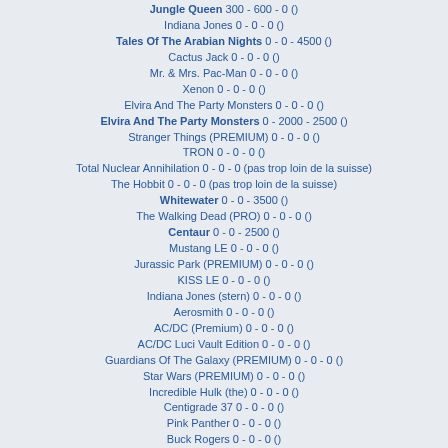Jungle Queen 300 - 600 - 0 ()
Indiana Jones 0 - 0 - 0 ()
Tales Of The Arabian Nights 0 - 0 - 4500 ()
Cactus Jack 0 - 0 - 0 ()
Mr. & Mrs. Pac-Man 0 - 0 - 0 ()
Xenon 0 - 0 - 0 ()
Elvira And The Party Monsters 0 - 0 - 0 ()
Elvira And The Party Monsters 0 - 2000 - 2500 ()
Stranger Things (PREMIUM) 0 - 0 - 0 ()
TRON 0 - 0 - 0 ()
Total Nuclear Annihilation 0 - 0 - 0 (pas trop loin de la suisse)
The Hobbit 0 - 0 - 0 (pas trop loin de la suisse)
Whitewater 0 - 0 - 3500 ()
The Walking Dead (PRO) 0 - 0 - 0 ()
Centaur 0 - 0 - 2500 ()
Mustang LE 0 - 0 - 0 ()
Jurassic Park (PREMIUM) 0 - 0 - 0 ()
KISS LE 0 - 0 - 0 ()
Indiana Jones (stern) 0 - 0 - 0 ()
Aerosmith 0 - 0 - 0 ()
AC/DC (Premium) 0 - 0 - 0 ()
AC/DC Luci Vault Edition 0 - 0 - 0 ()
Guardians Of The Galaxy (PREMIUM) 0 - 0 - 0 ()
Star Wars (PREMIUM) 0 - 0 - 0 ()
Incredible Hulk (the) 0 - 0 - 0 ()
Centigrade 37 0 - 0 - 0 ()
Pink Panther 0 - 0 - 0 ()
Buck Rogers 0 - 0 - 0 ()
Lethal Weapon 3 0 - 0 - 2500 ()
Baywatch 0 - 0 - 0 ()
Flintstones (the) 0 - 0 - 0 ()
X-files 0 - 0 - 0 ()
WWF Royal Rumble 0 - 0 - 0 ()
Turtles 0 - 0 - 0 ()
Jurassic Park 0 - 0 - 0 ()
Hook 0 - 0 - 0 ()
Batman (data East) 0 - 0 - 0 ()
Adventures Of Rocky And Bullwinkle And Friends 0 - 0 - 0 ()
Elvis 0 - 0 - 0 ()
Playboy 0 - 0 - 0 ()
Evel Knievel 0 - 0 - 0 ()